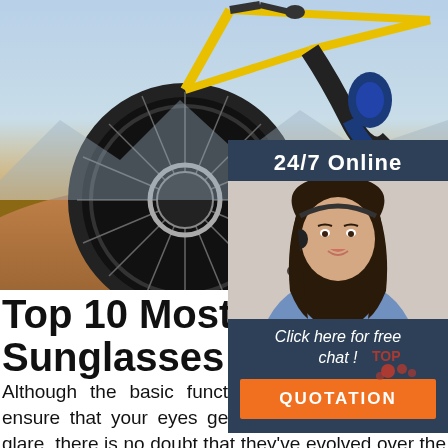[Figure (photo): Mountain bike action shot with rider on dirt trail kicking up dust, yellow bike prominent, close-up of front wheel]
[Figure (photo): Sidebar panel showing woman with headset smiling, customer support agent, with '24/7 Online' header and 'Click here for free chat!' text and QUOTATION orange button]
Top 10 Most Luxurious Sunglasses Brands
Although the basic function of sunglasses is to ensure that your eyes get protected from the sun glare, there is no doubt that they've evolved over the years in terms of functionalities. For instance, sunglasses can help elevate your status in public. The major aim of this post